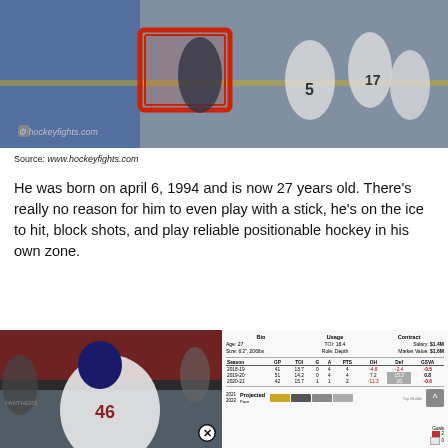[Figure (photo): Hockey fight scene at rink with players near goal, watermark hockeyfights.com, close button at top center]
Source: www.hockeyfights.com
He was born on april 6, 1994 and is now 27 years old. There's really no reason for him to even play with a stick, he's on the ice to hit, block shots, and play reliable positionable hockey in his own zone.
[Figure (photo): Hockey player wearing #46 in white jersey skating on ice, rink background with red boards, close button at bottom right]
|  | Bio |  | Usage |  | Contract |
| --- | --- | --- | --- | --- | --- |
| Age: 27 |  | TOI: 18.4 |  | Salary: | $1.4M |
| Size: 6'2", 206lbs |  | Role: Depth |  | Market Value: | $1.6M |
| Season | GP | TOI | G | A | PTS | OH | Def | GSVA |
| 2018-19 | 41 | 13.7 | 0 | 4 | 4 | -4.8 | -2.4 | -0.5 |
| 2019-20 | 51 | 14.2 | 0 | 4 | 4 | 7.2 | 15.2 | 0.8 |
| 2020-21 | 42 | 15.7 | 1 | 1 | 2 | -11.3 | 10 | -0.6 |